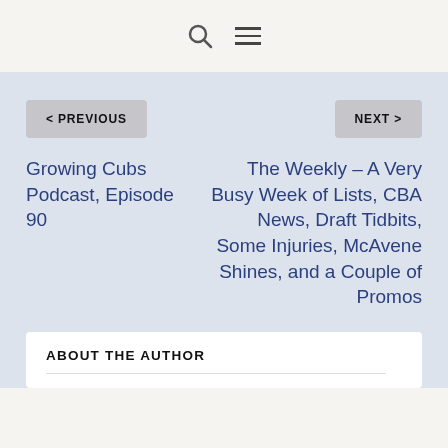Search | Menu
< PREVIOUS
NEXT >
Growing Cubs Podcast, Episode 90
The Weekly – A Very Busy Week of Lists, CBA News, Draft Tidbits, Some Injuries, McAvene Shines, and a Couple of Promos
ABOUT THE AUTHOR